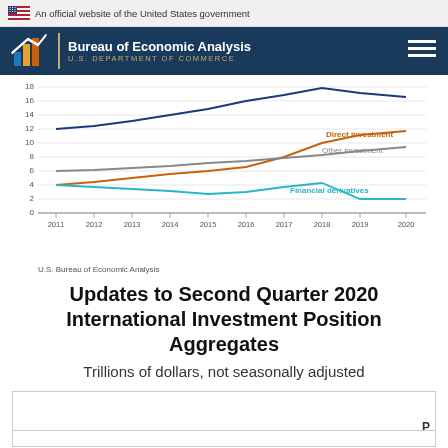An official website of the United States government
[Figure (logo): BEA - Bureau of Economic Analysis, U.S. Department of Commerce logo with navigation]
[Figure (line-chart): Line chart showing Direct investment, Other investment, and Financial derivatives from 2011 to 2020 in trillions of dollars. Direct investment rises from ~12 to ~17, Other investment rises from ~4 to ~10, Financial derivatives stays ~2-5.]
U.S. Bureau of Economic Analysis
Updates to Second Quarter 2020 International Investment Position Aggregates
Trillions of dollars, not seasonally adjusted